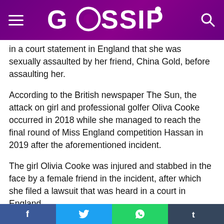GOSSIP
in a court statement in England that she was sexually assaulted by her friend, China Gold, before assaulting her.
According to the British newspaper The Sun, the attack on girl and professional golfer Oliva Cooke occurred in 2018 while she managed to reach the final round of Miss England competition Hassan in 2019 after the aforementioned incident.
The girl Olivia Cooke was injured and stabbed in the face by a female friend in the incident, after which she filed a lawsuit that was heard in a court in England.
During the hearing, Olivia Cooke recalled the attack on herself, saying that she was present with all her friends at the ceremony where she was attacked and that the female friends who attacked her were not her direct friends. Rather
Facebook Twitter WhatsApp Tumblr